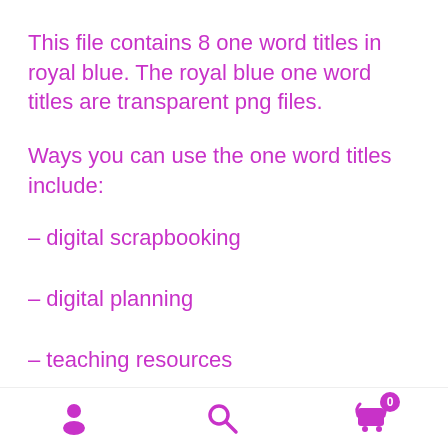This file contains 8 one word titles in royal blue. The royal blue one word titles are transparent png files.
Ways you can use the one word titles include:
– digital scrapbooking
– digital planning
– teaching resources
– digital card making